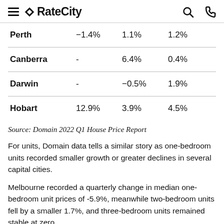RateCity
| City | Col1 | Col2 | Col3 |
| --- | --- | --- | --- |
| Perth | −1.4% | 1.1% | 1.2% |
| Canberra | - | 6.4% | 0.4% |
| Darwin | - | −0.5% | 1.9% |
| Hobart | 12.9% | 3.9% | 4.5% |
Source: Domain 2022 Q1 House Price Report
For units, Domain data tells a similar story as one-bedroom units recorded smaller growth or greater declines in several capital cities.
Melbourne recorded a quarterly change in median one-bedroom unit prices of -5.9%, meanwhile two-bedroom units fell by a smaller 1.7%, and three-bedroom units remained stable at zero.